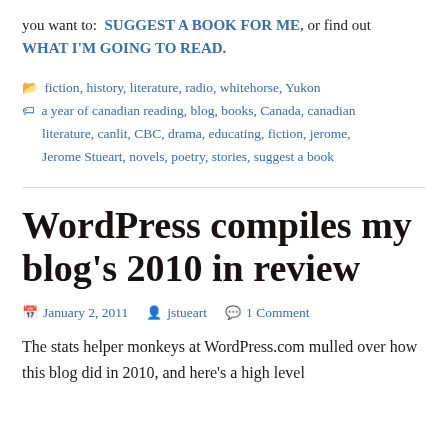you want to: SUGGEST A BOOK FOR ME, or find out WHAT I'M GOING TO READ.
fiction, history, literature, radio, whitehorse, Yukon
a year of canadian reading, blog, books, Canada, canadian literature, canlit, CBC, drama, educating, fiction, jerome, Jerome Stueart, novels, poetry, stories, suggest a book
WordPress compiles my blog's 2010 in review
January 2, 2011   jstueart   1 Comment
The stats helper monkeys at WordPress.com mulled over how this blog did in 2010, and here's a high level